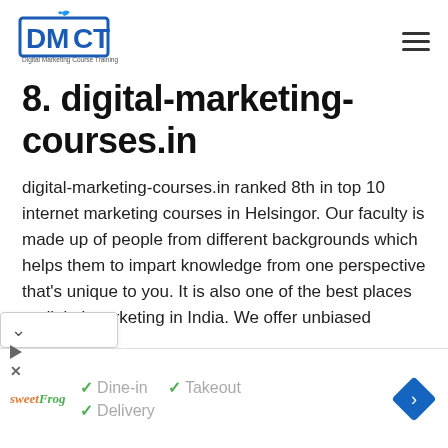[Figure (logo): DMCT Digital Marketing Course Training logo with blue bird icon]
8. digital-marketing-courses.in
digital-marketing-courses.in ranked 8th in top 10 internet marketing courses in Helsingor. Our faculty is made up of people from different backgrounds which helps them to impart knowledge from one perspective that's unique to you. It is also one of the best places to digital marketing in India. We offer unbiased
[Figure (screenshot): Ad bar with sweetFrog logo, Dine-in, Takeout, Delivery checkmarks, and navigation diamond icon]